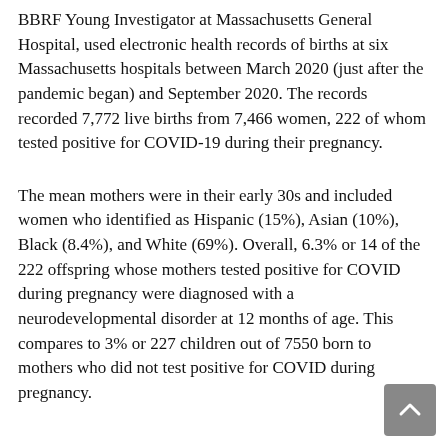BBRF Young Investigator at Massachusetts General Hospital, used electronic health records of births at six Massachusetts hospitals between March 2020 (just after the pandemic began) and September 2020. The records recorded 7,772 live births from 7,466 women, 222 of whom tested positive for COVID-19 during their pregnancy.
The mean mothers were in their early 30s and included women who identified as Hispanic (15%), Asian (10%), Black (8.4%), and White (69%). Overall, 6.3% or 14 of the 222 offspring whose mothers tested positive for COVID during pregnancy were diagnosed with a neurodevelopmental disorder at 12 months of age. This compares to 3% or 227 children out of 7550 born to mothers who did not test positive for COVID during pregnancy.